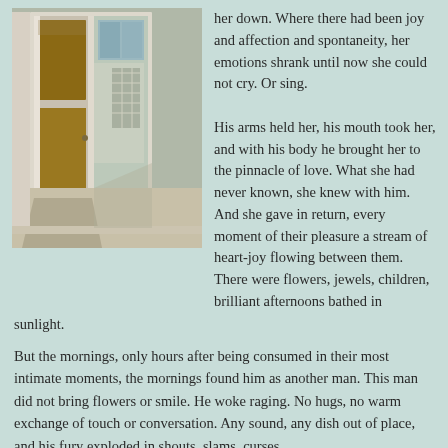[Figure (photo): Photograph of a white-painted wooden door open to reveal a porch and outdoor area with sunlight casting shadows on the floor]
her down. Where there had been joy and affection and spontaneity, her emotions shrank until now she could not cry. Or sing.

His arms held her, his mouth took her, and with his body he brought her to the pinnacle of love. What she had never known, she knew with him. And she gave in return, every moment of their pleasure a stream of heart-joy flowing between them. There were flowers, jewels, children, brilliant afternoons bathed in sunlight.
But the mornings, only hours after being consumed in their most intimate moments, the mornings found him as another man. This man did not bring flowers or smile. He woke raging. No hugs, no warm exchange of touch or conversation. Any sound, any dish out of place, and his fury exploded in shouts, slams, curses.
The excuses she made for him could fill a book. It was a dry drunk, his